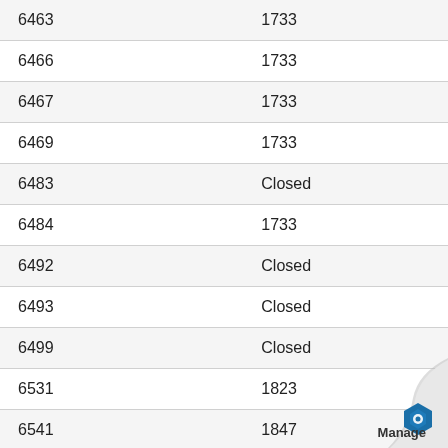| 6463 | 1733 |
| 6466 | 1733 |
| 6467 | 1733 |
| 6469 | 1733 |
| 6483 | Closed |
| 6484 | 1733 |
| 6492 | Closed |
| 6493 | Closed |
| 6499 | Closed |
| 6531 | 1823 |
| 6541 | 1847 |
| 6672 | 1819 |
| 6694 | 1704 |